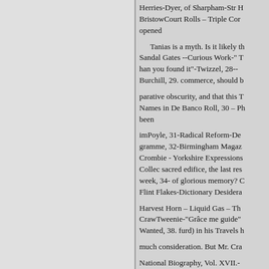Herries-Dyer, of Sharpham-Str H BristowCourt Rolls – Triple Cor opened
Tanias is a myth. Is it likely th Sandal Gates --Curious Work-" T han you found it"-Twizzel, 28-- Burchill, 29. commerce, should b
parative obscurity, and that this T Names in De Banco Roll, 30 – Ph been
imPoyle, 31-Radical Reform-De gramme, 32-Birmingham Magaz Crombie - Yorkshire Expressions Collec sacred edifice, the last res week, 34- of glorious memory? C Flint Flakes-Dictionary Desidera
Harvest Horn – Liquid Gas – Th CrawTweenie-"Grâce me guide" Wanted, 38. furd) in his Travels h
much consideration. But Mr. Cra
National Biography, Vol. XVII.-